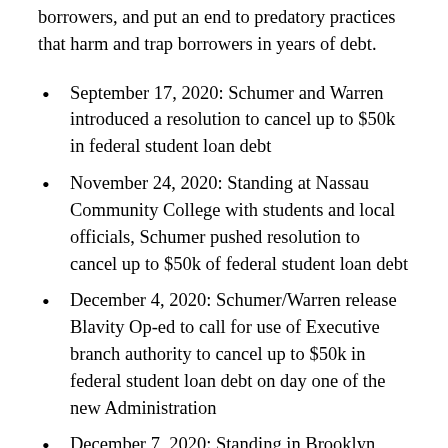borrowers, and put an end to predatory practices that harm and trap borrowers in years of debt.
September 17, 2020: Schumer and Warren introduced a resolution to cancel up to $50k in federal student loan debt
November 24, 2020: Standing at Nassau Community College with students and local officials, Schumer pushed resolution to cancel up to $50k of federal student loan debt
December 4, 2020: Schumer/Warren release Blavity Op-ed to call for use of Executive branch authority to cancel up to $50k in federal student loan debt on day one of the new Administration
December 7, 2020: Standing in Brooklyn with Representatives-elect, Jamaal Bowman